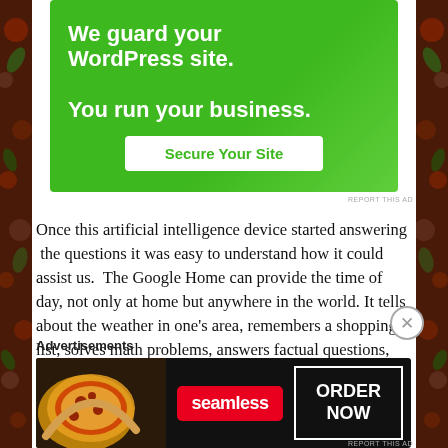[Figure (other): Green advertisement banner for WordPress site security. Text reads 'We guard your WordPress site. You run your business.' with a 'Secure Your Site' button.]
Once this artificial intelligence device started answering the questions it was easy to understand how it could assist us.  The Google Home can provide the time of day, not only at home but anywhere in the world. It tells about the weather in one’s area, remembers a shopping list, solves math problems, answers factual questions, plays music, looks up recipe ingredients and etc.... It can even play trivia games! This helps to hone our knowledge banks for factual
[Figure (other): Seamless food delivery advertisement banner showing pizza image on left, Seamless logo in center, and 'ORDER NOW' button on right against dark background.]